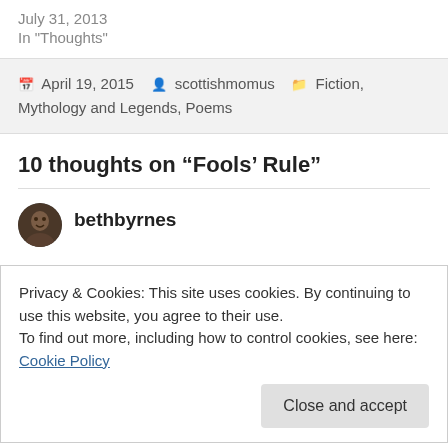July 31, 2013
In "Thoughts"
April 19, 2015   scottishmomus   Fiction, Mythology and Legends, Poems
10 thoughts on “Fools’ Rule”
bethbyrnes
Privacy & Cookies: This site uses cookies. By continuing to use this website, you agree to their use.
To find out more, including how to control cookies, see here: Cookie Policy
Close and accept
Liked by 3 people